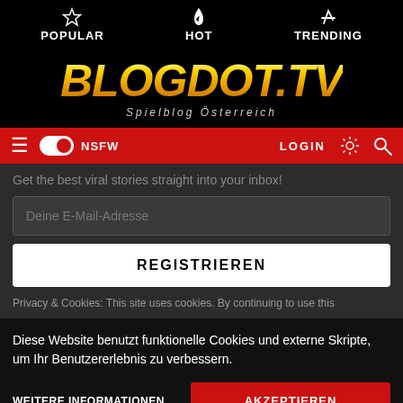POPULAR  HOT  TRENDING
[Figure (logo): BLOGDOT.TV logo with subtitle Spielblog Österreich on black background]
≡ NSFW toggle  LOGIN  sun icon  search icon
Get the best viral stories straight into your inbox!
Deine E-Mail-Adresse (input field)
REGISTRIEREN (button)
Privacy & Cookies: This site uses cookies. By continuing to use this
Diese Website benutzt funktionelle Cookies und externe Skripte, um Ihr Benutzererlebnis zu verbessern.
WEITERE INFORMATIONEN   AKZEPTIEREN